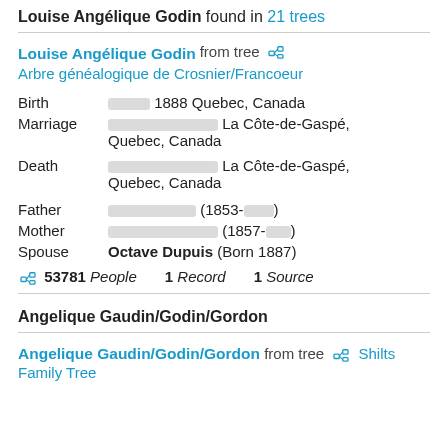Louise Angélique Godin found in 21 trees
Louise Angélique Godin from tree  Arbre généalogique de Crosnier/Francoeur
| Birth | [blurred] 1888 Quebec, Canada |
| Marriage | [blurred] La Côte-de-Gaspé, Quebec, Canada |
| Death | [blurred] La Côte-de-Gaspé, Quebec, Canada |
| Father | [blurred] (1853-[blurred]) |
| Mother | [blurred] (1857-[blurred]) |
| Spouse | Octave Dupuis (Born 1887) |
53781 People  1 Record  1 Source
Angelique Gaudin/Godin/Gordon
Angelique Gaudin/Godin/Gordon from tree  Shilts Family Tree